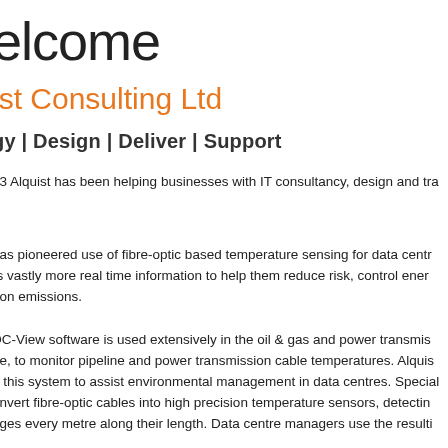elcome
ist Consulting Ltd
gy | Design | Deliver | Support
03 Alquist has been helping businesses with IT consultancy, design and tra...
has pioneered use of fibre-optic based temperature sensing for data centr... rs vastly more real time information to help them reduce risk, control ener... pon emissions.
DC-View software is used extensively in the oil & gas and power transmis... de, to monitor pipeline and power transmission cable temperatures. Alquis... d this system to assist environmental management in data centres. Special... onvert fibre-optic cables into high precision temperature sensors, detectin... nges every metre along their length. Data centre managers use the resulti...